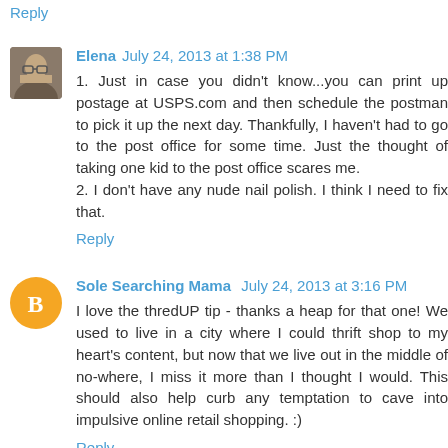Reply
Elena  July 24, 2013 at 1:38 PM
1. Just in case you didn't know...you can print up postage at USPS.com and then schedule the postman to pick it up the next day. Thankfully, I haven't had to go to the post office for some time. Just the thought of taking one kid to the post office scares me.
2. I don't have any nude nail polish. I think I need to fix that.
Reply
Sole Searching Mama  July 24, 2013 at 3:16 PM
I love the thredUP tip - thanks a heap for that one! We used to live in a city where I could thrift shop to my heart's content, but now that we live out in the middle of no-where, I miss it more than I thought I would. This should also help curb any temptation to cave into impulsive online retail shopping. :)
Reply